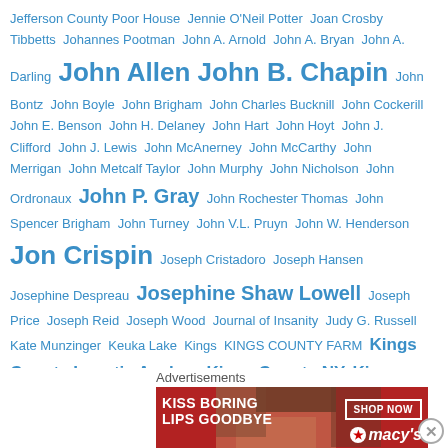Jefferson County Poor House Jennie O'Neil Potter Joan Crosby Tibbetts Johannes Pootman John A. Arnold John A. Bryan John A. Darling John Allen John B. Chapin John Bontz John Boyle John Brigham John Charles Bucknill John Cockerill John E. Benson John H. Delaney John Hart John Hoyt John J. Clifford John J. Lewis John McAnerney John McCarthy John Merrigan John Metcalf Taylor John Murphy John Nicholson John Ordronaux John P. Gray John Rochester Thomas John Spencer Brigham John Turney John V.L. Pruyn John W. Henderson Jon Crispin Joseph Cristadoro Joseph Hansen Josephine Despreau Josephine Shaw Lowell Joseph Price Joseph Reid Joseph Wood Journal of Insanity Judy G. Russell Kate Munzinger Keuka Lake Kings KINGS COUNTY FARM Kings County Lunatic Asylum Kings County NY Kings Park: Stories from an American Mental Institution Kings Park NY Kings Park State Hospital Kings Park Station Larry Fricks Laurel Lemke Lawrence Mocha Lehigh Valley Railroad Letchworth Village Lewis County NY Lewis County Poor House Life Magazine: The Shadow of Insanity Lin Stuhler Livingston County NY Livingston County Poor House London
Advertisements
[Figure (other): Macy's advertisement banner: 'KISS BORING LIPS GOODBYE' with a woman's face showing red lips, SHOP NOW button, and Macy's star logo]